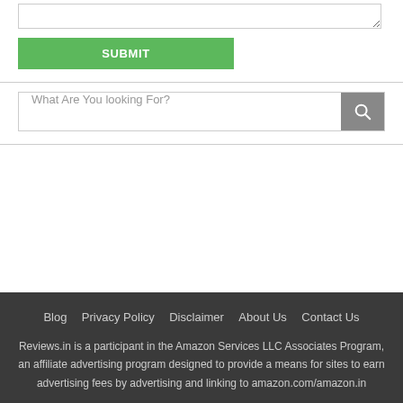[Figure (screenshot): Textarea input box with resize handle at bottom right]
[Figure (screenshot): Green SUBMIT button]
[Figure (screenshot): Search bar with placeholder text 'What Are You looking For?' and grey search icon button on the right]
Blog  Privacy Policy  Disclaimer  About Us  Contact Us
Reviews.in is a participant in the Amazon Services LLC Associates Program, an affiliate advertising program designed to provide a means for sites to earn advertising fees by advertising and linking to amazon.com/amazon.in